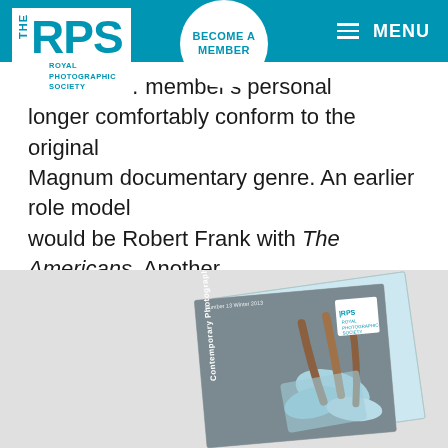THE RPS | ROYAL PHOTOGRAPHIC SOCIETY | BECOME A MEMBER | MENU
…that mu… member's personal longer comfortably conform to the original Magnum documentary genre. An earlier role model would be Robert Frank with The Americans. Another example would be the Dutch photographer Ed van der Elsken.
The constitution for the Contemporary SIG is available here.
[Figure (photo): Magazine cover showing 'Contemporary Photography' RPS publication with a photo of hanging straps/ribbons in blue and brown tones on a grey background. RPS logo visible on cover.]